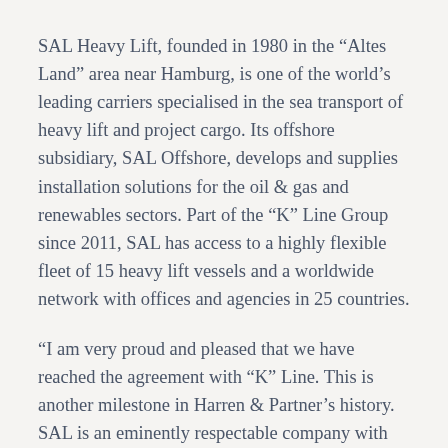SAL Heavy Lift, founded in 1980 in the “Altes Land” area near Hamburg, is one of the world’s leading carriers specialised in the sea transport of heavy lift and project cargo. Its offshore subsidiary, SAL Offshore, develops and supplies installation solutions for the oil & gas and renewables sectors. Part of the “K” Line Group since 2011, SAL has access to a highly flexible fleet of 15 heavy lift vessels and a worldwide network with offices and agencies in 25 countries.
“I am very proud and pleased that we have reached the agreement with “K” Line. This is another milestone in Harren & Partner’s history. SAL is an eminently respectable company with experienced employees and long-term customer relationships which stands for innovation, quality and technical expertise,” says Dr. Martin Harren, Managing Director of Harren & Partner. “We believe that this acquisition will ensure that both SAL and Harren & Partner are even well positioned for…